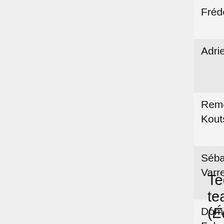| Name | Organization | Role |
| --- | --- | --- |
| Frédéric Loui | RENATER | Grid'5000 Network… |
| Adrien Lebre | IMT Atlantique | Chief Scientist Nantes… |
| Remous-Aris Koutsiamanis | IMT Atlantique | Deputy Scientist Nantes… |
| Sébastien Varrette | University of Luxembourg | Chief scientist Luxemb… |
| Dominique Fohr | CNRS, LORIA | Representative users of product partition… |
| Simon Delamare | CNRS, LIP | Technical Director… |
Technical team (Équipe